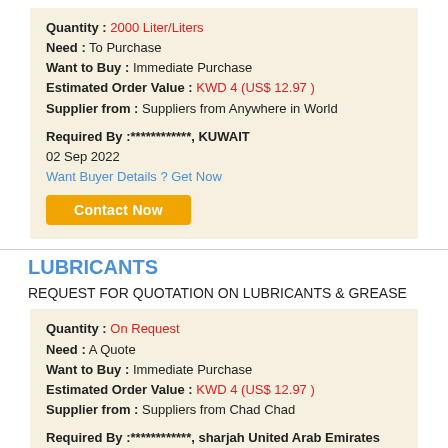Quantity : 2000 Liter/Liters
Need : To Purchase
Want to Buy : Immediate Purchase
Estimated Order Value : KWD 4 (US$ 12.97 )
Supplier from : Suppliers from Anywhere in World

Required By :************, KUWAIT
02 Sep 2022
Want Buyer Details ? Get Now
Contact Now
LUBRICANTS
REQUEST FOR QUOTATION ON LUBRICANTS & GREASE
Quantity : On Request
Need : A Quote
Want to Buy : Immediate Purchase
Estimated Order Value : KWD 4 (US$ 12.97 )
Supplier from : Suppliers from Chad Chad

Required By :************, sharjah United Arab Emirates
01 Sep 2022
Want Buyer Details ? Get Now
Contact Now